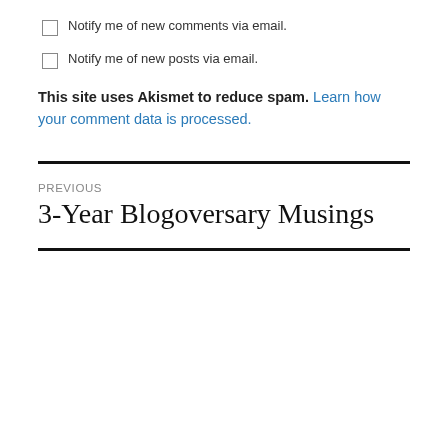Notify me of new comments via email.
Notify me of new posts via email.
This site uses Akismet to reduce spam. Learn how your comment data is processed.
PREVIOUS
3-Year Blogoversary Musings
Privacy & Cookies: This site uses cookies. By continuing to use this website, you agree to their use. To find out more, including how to control cookies, see here: Cookie Policy